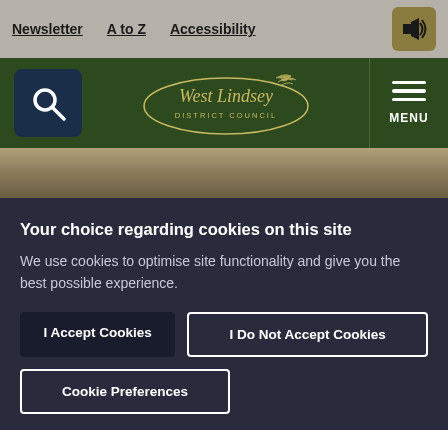Newsletter | A to Z | Accessibility
[Figure (logo): West Lindsey District Council logo with search button and menu button on dark green navigation bar]
[Figure (photo): Hero image, muted beige/tan tones]
Your choice regarding cookies on this site
We use cookies to optimise site functionality and give you the best possible experience.
I Accept Cookies | I Do Not Accept Cookies | Cookie Preferences